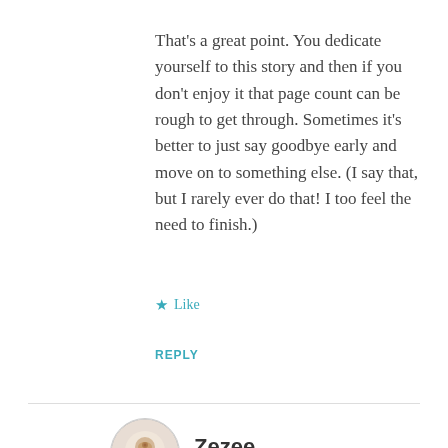That's a great point. You dedicate yourself to this story and then if you don't enjoy it that page count can be rough to get through. Sometimes it's better to just say goodbye early and move on to something else. (I say that, but I rarely ever do that! I too feel the need to finish.)
★ Like
REPLY
Zezee
JULY 12, 2015 AT 5:07 PM